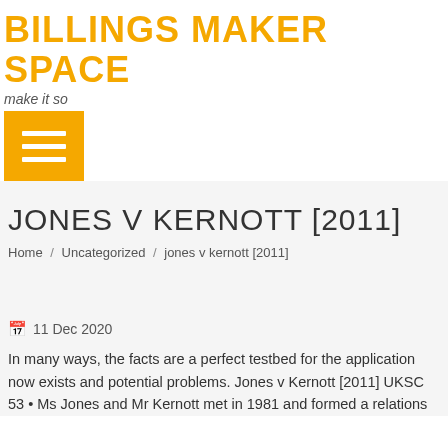BILLINGS MAKER SPACE
make it so
JONES V KERNOTT [2011]
Home / Uncategorized / jones v kernott [2011]
11 Dec 2020
In many ways, the facts are a perfect testbed for the application now exists and potential problems. Jones v Kernott [2011] UKSC 53 • Ms Jones and Mr Kernott met in 1981 and formed a relations